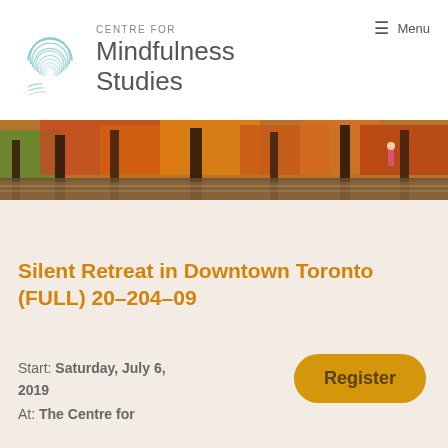[Figure (logo): Centre for Mindfulness Studies logo: teal circular swirl icon with text 'CENTRE FOR Mindfulness Studies']
≡  Menu
[Figure (photo): Wide banner photograph of a colourful autumn forest scene with red, orange, and yellow foliage reflected in a pond.]
Silent Retreat in Downtown Toronto (FULL) 20–204–09
Start: Saturday, July 6, 2019
At: The Centre for
Register